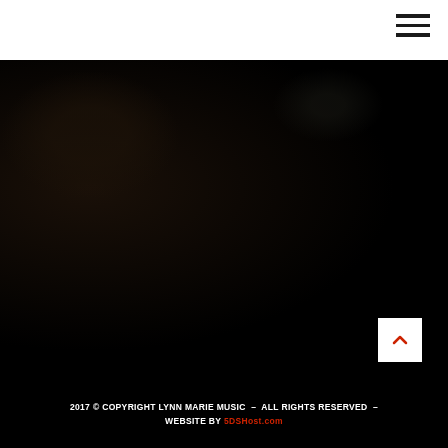Navigation menu icon (hamburger)
[Figure (photo): Dark photography background, nearly black with subtle warm shadows on the left side and faint shapes visible on the right upper area, likely a concert/music scene]
2017 © COPYRIGHT LYNN MARIE MUSIC – ALL RIGHTS RESERVED – WEBSITE BY 5DSHost.com